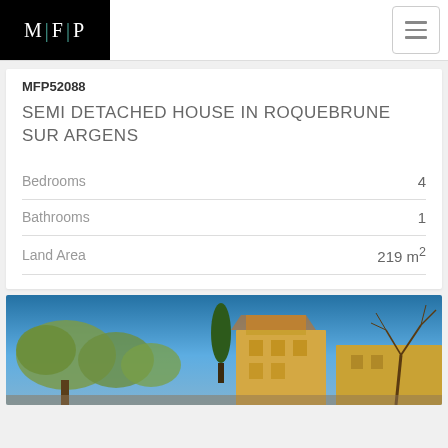[Figure (logo): MFP logo in white text on black background with teal separators]
SEMI DETACHED HOUSE IN ROQUEBRUNE SUR ARGENS
MFP52088
|  |  |
| --- | --- |
| Bedrooms | 4 |
| Bathrooms | 1 |
| Land Area | 219 m² |
[Figure (photo): Exterior photo of a house with trees (olive, cypress) against a blue sky, yellow building visible in background]